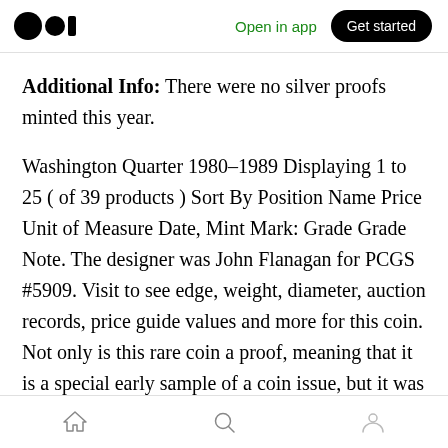Open in app | Get started
Additional Info: There were no silver proofs minted this year.
Washington Quarter 1980–1989 Displaying 1 to 25 ( of 39 products ) Sort By Position Name Price Unit of Measure Date, Mint Mark: Grade Grade Note. The designer was John Flanagan for PCGS #5909. Visit to see edge, weight, diameter, auction records, price guide values and more for this coin. Not only is this rare coin a proof, meaning that it is a special early sample of a coin issue, but it was also cast on top of a 1941
Home | Search | Profile